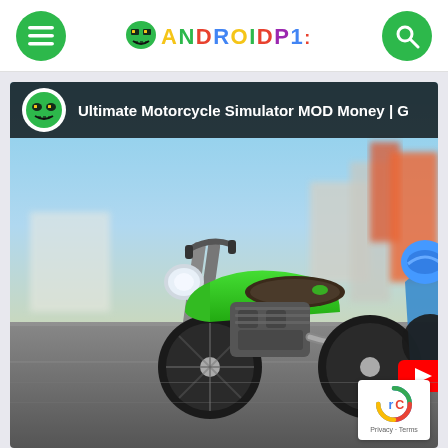ANDROIDP1 - navigation header with hamburger menu and search button
[Figure (screenshot): Screenshot of AndroidP1 website showing Ultimate Motorcycle Simulator MOD Money article with a green motorcycle game image]
Ultimate Motorcycle Simulator MOD Money | G